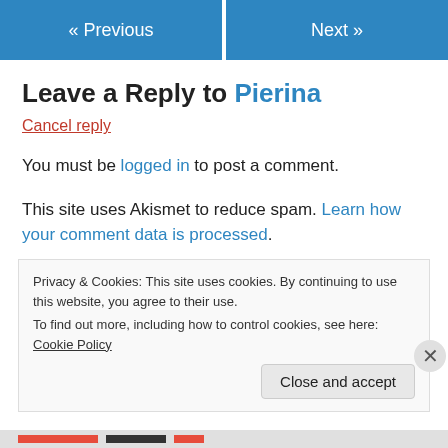« Previous   Next »
Leave a Reply to Pierina
Cancel reply
You must be logged in to post a comment.
This site uses Akismet to reduce spam. Learn how your comment data is processed.
Privacy & Cookies: This site uses cookies. By continuing to use this website, you agree to their use.
To find out more, including how to control cookies, see here: Cookie Policy
Close and accept